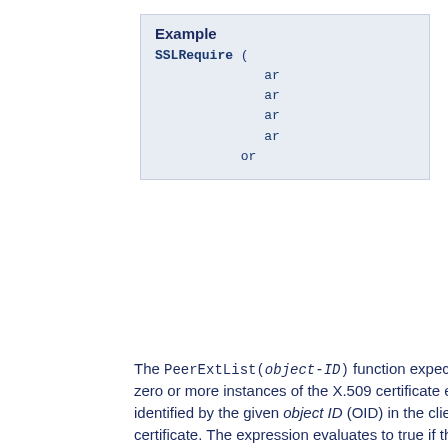[Figure (other): Example code box with SSLRequire directive showing boolean expressions with 'and'/'or' operators]
The PeerExtList(object-ID) function expects to find zero or more instances of the X.509 certificate extension identified by the given object ID (OID) in the client certificate. The expression evaluates to true if the left-hand side string matches exactly against the value of an extension identified with this OID. (If multiple extensions with the same OID